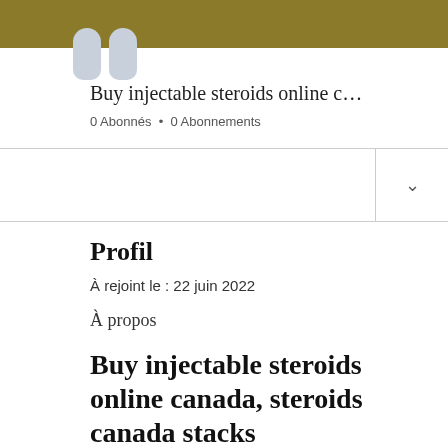[Figure (screenshot): Profile page header with golden/olive banner and avatar placeholder showing foot-shaped silhouettes]
Buy injectable steroids online c…
0 Abonnés • 0 Abonnements
∨
Profil
À rejoint le : 22 juin 2022
À propos
Buy injectable steroids online canada, steroids canada stacks